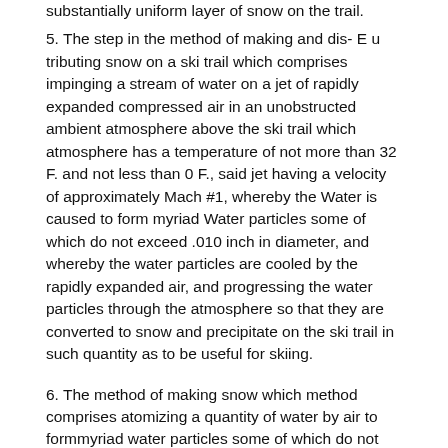substantially uniform layer of snow on the trail.
5. The step in the method of making and dis- E u tributing snow on a ski trail which comprises impinging a stream of water on a jet of rapidly expanded compressed air in an unobstructed ambient atmosphere above the ski trail which atmosphere has a temperature of not more than 32 F. and not less than 0 F., said jet having a velocity of approximately Mach #1, whereby the Water is caused to form myriad Water particles some of which do not exceed .010 inch in diameter, and whereby the water particles are cooled by the rapidly expanded air, and progressing the water particles through the atmosphere so that they are converted to snow and precipitate on the ski trail in such quantity as to be useful for skiing.
6. The method of making snow which method comprises atomizing a quantity of water by air to form myriad water particles some of which do not exceed .010 inch in diameter, the quantity o1 Water being supplied from a source of water under a pressure of between 10 and 60 pounds per square inch, and the air being supplied from a source of air under a pressure of between 30 and 200 pounds per square inch, and projecting the water particles